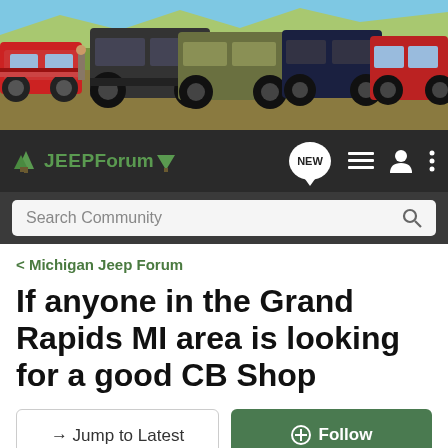[Figure (photo): Banner photo showing multiple Jeep vehicles lined up outdoors on rocky/grassy terrain with blue sky background]
[Figure (logo): JEEPForum logo with tree icons on dark navbar, with NEW chat bubble button, list icon, user icon, and menu dots]
Search Community
< Michigan Jeep Forum
If anyone in the Grand Rapids MI area is looking for a good CB Shop
→ Jump to Latest
+ Follow
1 - 9 of 9 Posts